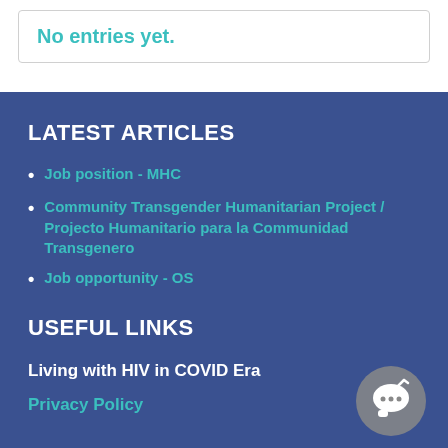No entries yet.
LATEST ARTICLES
Job position - MHC
Community Transgender Humanitarian Project / Projecto Humanitario para la Communidad Transgenero
Job opportunity - OS
USEFUL LINKS
Living with HIV in COVID Era
Privacy Policy